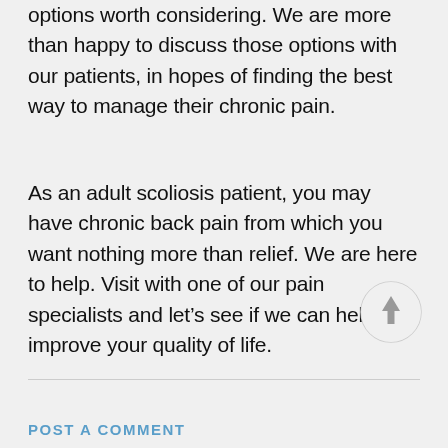options worth considering. We are more than happy to discuss those options with our patients, in hopes of finding the best way to manage their chronic pain.
As an adult scoliosis patient, you may have chronic back pain from which you want nothing more than relief. We are here to help. Visit with one of our pain specialists and let's see if we can help improve your quality of life.
[Figure (other): Circular scroll-to-top button with upward arrow icon]
POST A COMMENT